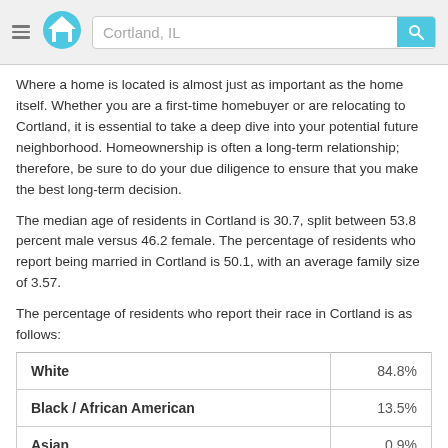Cortland, IL
Where a home is located is almost just as important as the home itself. Whether you are a first-time homebuyer or are relocating to Cortland, it is essential to take a deep dive into your potential future neighborhood. Homeownership is often a long-term relationship; therefore, be sure to do your due diligence to ensure that you make the best long-term decision.
The median age of residents in Cortland is 30.7, split between 53.8 percent male versus 46.2 female. The percentage of residents who report being married in Cortland is 50.1, with an average family size of 3.57.
The percentage of residents who report their race in Cortland is as follows:
| Race | Percentage |
| --- | --- |
| White | 84.8% |
| Black / African American | 13.5% |
| Asian | 0.9% |